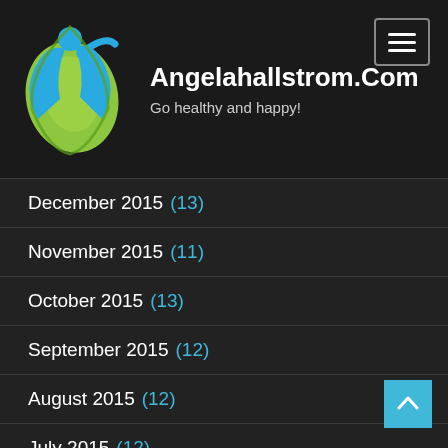[Figure (logo): Angelahallstrom.com logo: a blue and green stylized human figure with a green leaf/teardrop shape]
Angelahallstrom.Com
Go healthy and happy!
December 2015 (13)
November 2015 (11)
October 2015 (13)
September 2015 (12)
August 2015 (12)
July 2015 (12)
June 2015 (11)
May 2015 (1)